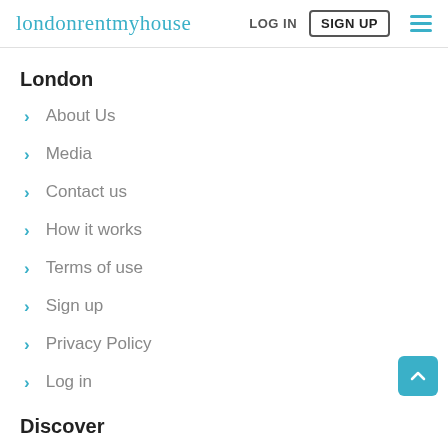londonrentmyhouse | LOG IN | SIGN UP
London
> About Us
> Media
> Contact us
> How it works
> Terms of use
> Sign up
> Privacy Policy
> Log in
Discover